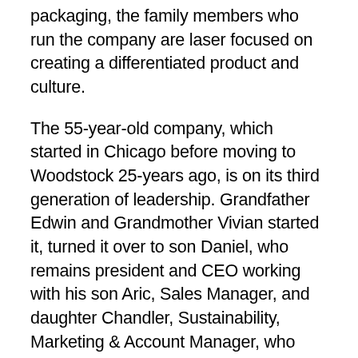packaging, the family members who run the company are laser focused on creating a differentiated product and culture.
The 55-year-old company, which started in Chicago before moving to Woodstock 25-years ago, is on its third generation of leadership. Grandfather Edwin and Grandmother Vivian started it, turned it over to son Daniel, who remains president and CEO working with his son Aric, Sales Manager, and daughter Chandler, Sustainability, Marketing & Account Manager, who keep the company moving ahead. Brother-in-law Dan Haavig serves as quality control manager.